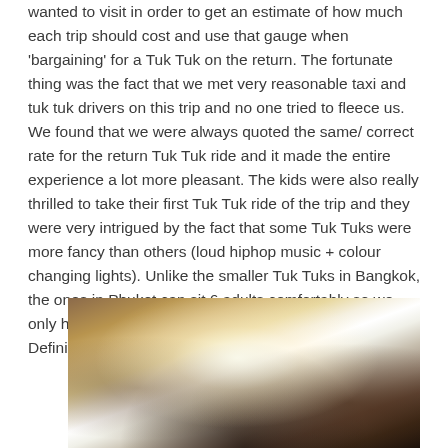wanted to visit in order to get an estimate of how much each trip should cost and use that gauge when 'bargaining' for a Tuk Tuk on the return. The fortunate thing was the fact that we met very reasonable taxi and tuk tuk drivers on this trip and no one tried to fleece us. We found that we were always quoted the same/ correct rate for the return Tuk Tuk ride and it made the entire experience a lot more pleasant. The kids were also really thrilled to take their first Tuk Tuk ride of the trip and they were very intrigued by the fact that some Tuk Tuks were more fancy than others (loud hiphop music + colour changing lights). Unlike the smaller Tuk Tuks in Bangkok, the ones in Phuket can sit 6 adults comfortably so we only had to hire one since we had 4 adults and 2 kids. Definitely a must do with the kids if you head to Phuket!
[Figure (photo): Photo of people riding in a Tuk Tuk, taken from inside the vehicle. The image shows faces of riders with a bright light flare in the center. The photo is slightly dark with warm tones.]